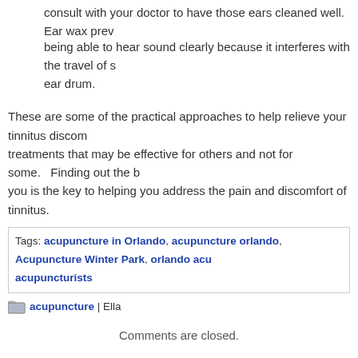consult with your doctor to have those ears cleaned well.  Ear wax prevents being able to hear sound clearly because it interferes with the travel of sound to the ear drum.
These are some of the practical approaches to help relieve your tinnitus discomfort. There are treatments that may be effective for others and not for some.   Finding out the best treatments for you is the key to helping you address the pain and discomfort of tinnitus.
Tags: acupuncture in Orlando, acupuncture orlando, Acupuncture Winter Park, orlando acupuncturists, acupuncturists
acupuncture | Ella
Comments are closed.